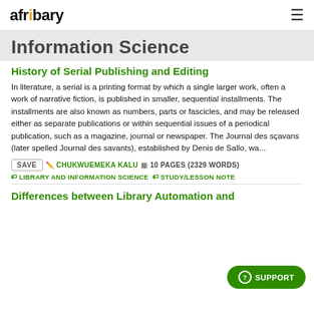afribary
Information Science
History of Serial Publishing and Editing
In literature, a serial is a printing format by which a single larger work, often a work of narrative fiction, is published in smaller, sequential installments. The installments are also known as numbers, parts or fascicles, and may be released either as separate publications or within sequential issues of a periodical publication, such as a magazine, journal or newspaper. The Journal des sçavans (later spelled Journal des savants), established by Denis de Sallo, wa...
SAVE  CHUKWUEMEKA KALU  10 PAGES (2329 WORDS)
LIBRARY AND INFORMATION SCIENCE  STUDY/LESSON NOTE
Differences between Library Automation and